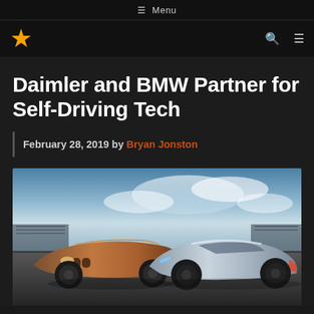≡ Menu
[Figure (logo): Gold star logo icon on black navigation bar with search and hamburger menu icons]
Daimler and BMW Partner for Self-Driving Tech
February 28, 2019 by Bryan Jonston
[Figure (photo): Two futuristic concept cars — a bronze/copper BMW Vision Next 100 on the left and a silver Mercedes-Benz F 015 on the right — parked on a racetrack with a dramatic sky in the background]